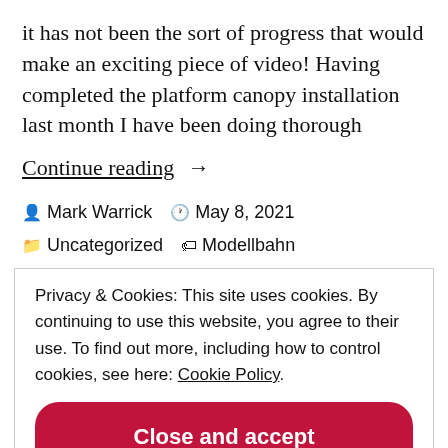it has not been the sort of progress that would make an exciting piece of video! Having completed the platform canopy installation last month I have been doing thorough
Continue reading →
Mark Warrick  May 8, 2021  Uncategorized  Modellbahn  2 Comments
Privacy & Cookies: This site uses cookies. By continuing to use this website, you agree to their use. To find out more, including how to control cookies, see here: Cookie Policy
Close and accept
Insdon Station